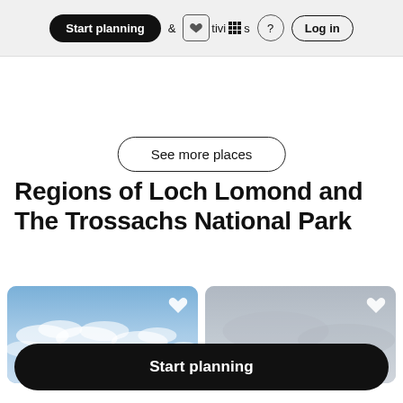Start planning | & Activities | ? | Log in
See more places
Regions of Loch Lomond and The Trossachs National Park
[Figure (photo): Two region photo cards side by side. Left card shows a blue sky with clouds. Right card shows a grey overcast sky. Each card has a white heart/bookmark icon in the upper right corner.]
Start planning